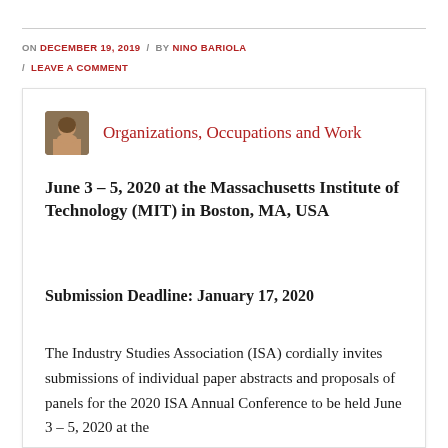ON DECEMBER 19, 2019 / BY NINO BARIOLA / LEAVE A COMMENT
[Figure (photo): Small avatar photo of a woman with brown hair]
Organizations, Occupations and Work
June 3 – 5, 2020 at the Massachusetts Institute of Technology (MIT) in Boston, MA, USA
Submission Deadline: January 17, 2020
The Industry Studies Association (ISA) cordially invites submissions of individual paper abstracts and proposals of panels for the 2020 ISA Annual Conference to be held June 3 – 5, 2020 at the